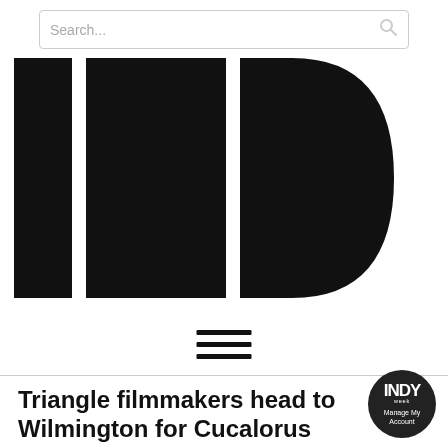Search...
[Figure (logo): INDY week logo — large bold black sans-serif text 'INDY' with 'week' rotated vertically on the right side]
[Figure (other): Hamburger menu icon — three horizontal black lines]
Triangle filmmakers head to Wilmington for Cucalorus Film Festival
[Figure (logo): INDY week circular badge/button — dark circle with INDY week logo and 'Manage My Account' text]